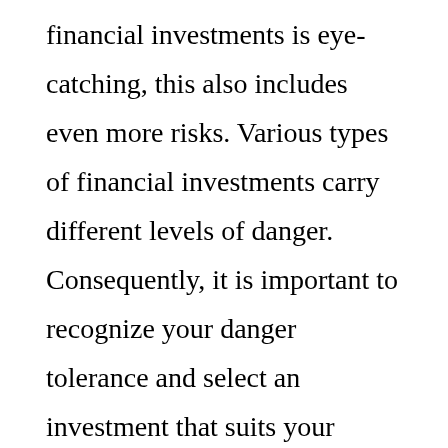financial investments is eye-catching, this also includes even more risks. Various types of financial investments carry different levels of danger. Consequently, it is important to recognize your danger tolerance and select an investment that suits your objectives. People pursuing a long-lasting objective must think about investing, due to the fact that saving prices have actually not equaled rising cost of living, and your buying power will begin to decrease. In this situation, it is a good idea to purchase supplies. Moreover, you need to